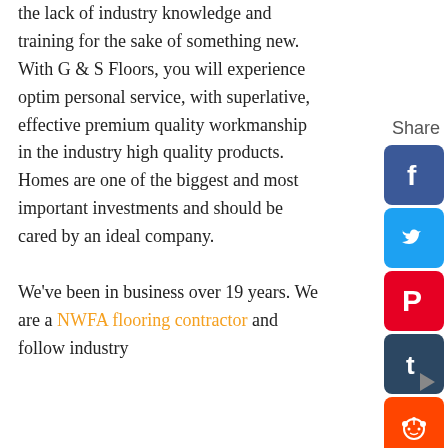the lack of industry knowledge and training for the sake of something new. With G & S Floors, you will experience optim personal service, with superlative, effective premium quality workmanship in the industry high quality products. Homes are one of the biggest and most important investments and should be cared by an ideal company.

We've been in business over 19 years. We are a NWFA flooring contractor and follow industry
[Figure (other): Social share sidebar with Facebook, Twitter, Pinterest, Tumblr, Reddit, and WhatsApp icons, plus a Share label at the top]